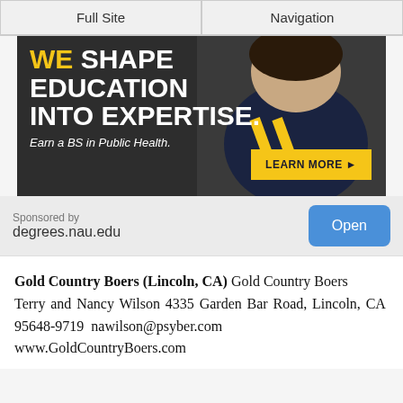Full Site | Navigation
[Figure (illustration): NAU education advertisement banner: dark background with a student in a NAU t-shirt. Text reads 'WE SHAPE EDUCATION INTO EXPERTISE. Earn a BS in Public Health.' with a yellow LEARN MORE button.]
Sponsored by
degrees.nau.edu
Open
Gold Country Boers (Lincoln, CA) Gold Country Boers Terry and Nancy Wilson 4335 Garden Bar Road, Lincoln, CA 95648-9719 nawilson@psyber.com www.GoldCountryBoers.com